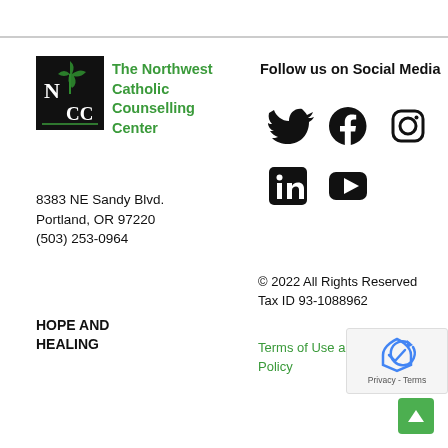[Figure (logo): Northwest Catholic Counselling Center logo — black square with NCC letters and green plant/leaf design]
The Northwest Catholic Counselling Center
8383 NE Sandy Blvd.
Portland, OR 97220
(503) 253-0964
HOPE AND HEALING
Follow us on Social Media
[Figure (illustration): Social media icons: Twitter bird, Facebook f, Instagram camera, LinkedIn in, YouTube play button]
© 2022 All Rights Reserved
Tax ID 93-1088962
Terms of Use and Privacy Policy